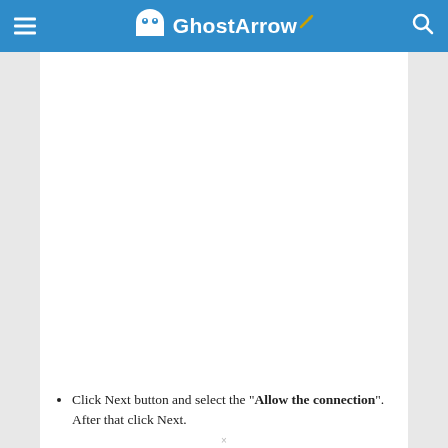GhostArrow
[Figure (other): Large blank white advertisement or image placeholder area]
Click Next button and select the "Allow the connection". After that click Next.
Click the Next button without making any changes
[Figure (screenshot): Video player overlay showing 'Baldur's Gate 3: Official Ad hoc' with 'No compatible source was found' error message and a close button]